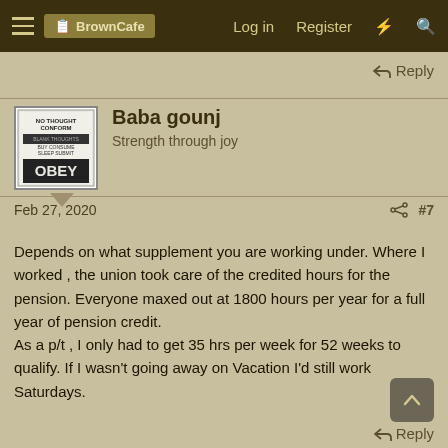BrownCafe   Log in   Register
↩ Reply
Baba gounj
Strength through joy
Feb 27, 2020   #7
Depends on what supplement you are working under. Where I worked , the union took care of the credited hours for the pension. Everyone maxed out at 1800 hours per year for a full year of pension credit.
As a p/t , I only had to get 35 hrs per week for 52 weeks to qualify. If I wasn't going away on Vacation I'd still work Saturdays.
↩ Reply